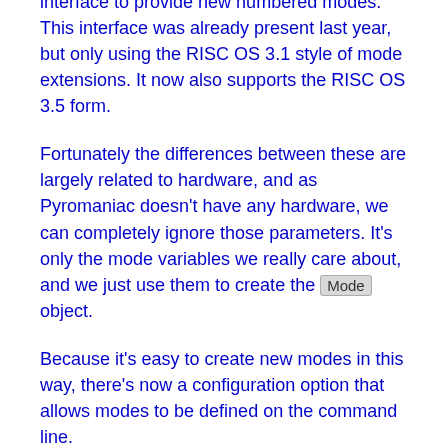possible to use the Service_ModeExtension interface to provide new numbered modes. This interface was already present last year, but only using the RISC OS 3.1 style of mode extensions. It now also supports the RISC OS 3.5 form.
Fortunately the differences between these are largely related to hardware, and as Pyromaniac doesn't have any hardware, we can completely ignore those parameters. It's only the mode variables we really care about, and we just use them to create the Mode object.
Because it's easy to create new modes in this way, there's now a configuration option that allows modes to be defined on the command line.